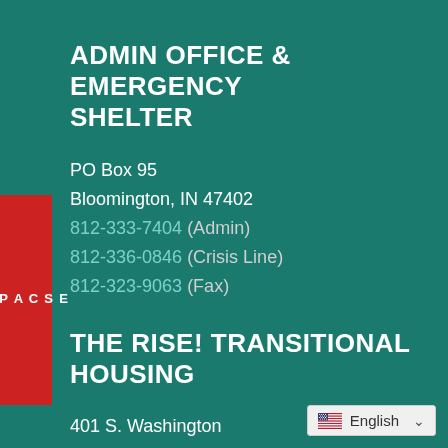ADMIN OFFICE & EMERGENCY SHELTER
PO Box 95
Bloomington, IN 47402
812-333-7404 (Admin)
812-336-0846 (Crisis Line)
812-323-9063 (Fax)
THE RISE! TRANSITIONAL HOUSING
401 S. Washington
Bloomington, IN 47401
812-337-4510
812-337-4511 (Fax)
[Figure (other): ESCAPE red tab on left side of page]
[Figure (other): Language selector bar showing English flag and dropdown]